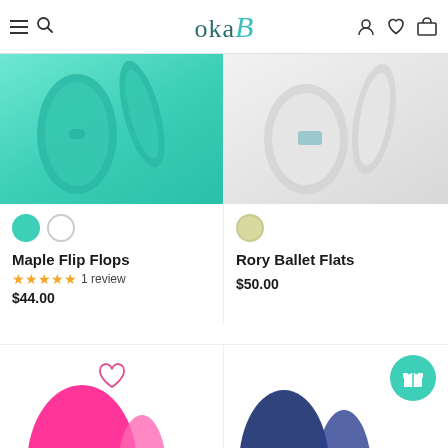oka-B navigation header with logo, menu, search, user, wishlist, cart icons
[Figure (photo): Top-down view of teal/mint colored Maple Flip Flops]
[Figure (photo): Top-down view of white/grey Rory Ballet Flats]
Maple Flip Flops
5 stars 1 review
$44.00
Rory Ballet Flats
$50.00
[Figure (photo): Bottom portion of pink/hot pink product thumbnail]
[Figure (photo): Bottom portion of navy blue product thumbnail]